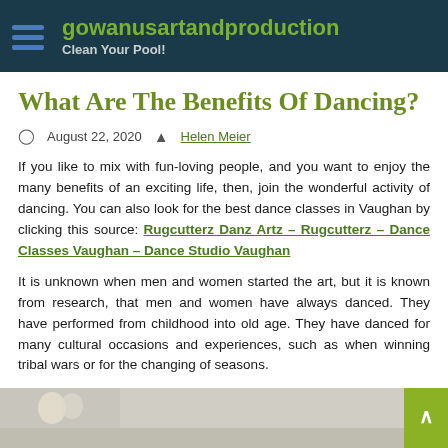gowanusartandproduction — Clean Your Pool!
What Are The Benefits Of Dancing?
August 22, 2020   Helen Meier
If you like to mix with fun-loving people, and you want to enjoy the many benefits of an exciting life, then, join the wonderful activity of dancing. You can also look for the best dance classes in Vaughan by clicking this source: Rugcutterz Danz Artz – Rugcutterz – Dance Classes Vaughan – Dance Studio Vaughan
It is unknown when men and women started the art, but it is known from research, that men and women have always danced. They have performed from childhood into old age. They have danced for many cultural occasions and experiences, such as when winning tribal wars or for the changing of seasons.
[Figure (photo): Bottom partial image of an interior room scene, with a scroll-to-top button on the right]